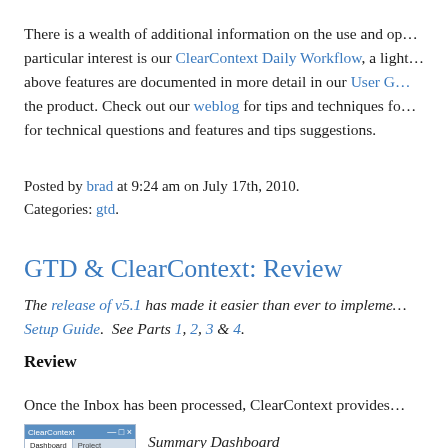There is a wealth of additional information on the use and op... particular interest is our ClearContext Daily Workflow, a light... above features are documented in more detail in our User G... the product. Check out our weblog for tips and techniques fo... for technical questions and features and tips suggestions.
Posted by brad at 9:24 am on July 17th, 2010.
Categories: gtd.
GTD & ClearContext: Review
The release of v5.1 has made it easier than ever to impleme... Setup Guide.  See Parts 1, 2, 3 & 4.
Review
Once the Inbox has been processed, ClearContext provides...
[Figure (screenshot): Screenshot of ClearContext application showing Dashboard and Project tabs with Projects section listing Organize Tasks (2 Overdue) and Unassigned Tasks]
Summary Dashboard
The Summary Dashboard in the ClearConte...